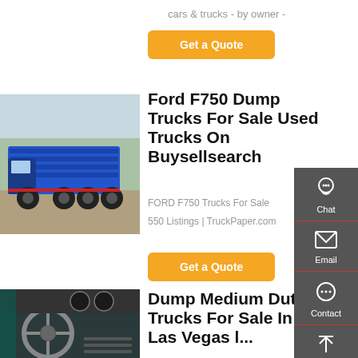cars & trucks - by owner -
Get a Quote
[Figure (photo): Blue dump truck (Ford F750 style) parked in a lot with trees in background]
Ford F750 Dump Trucks For Sale Used Trucks On Buysellsearch
FORD F750 Trucks For Sale
550 Listings | TruckPaper.com
Get a Quote
[Figure (photo): Interior dashboard view of a truck cab with steering wheel and instrument cluster]
Dump Medium Duty Trucks For Sale In Las Vegas l...